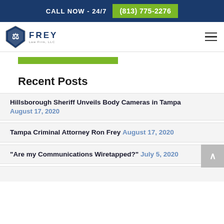CALL NOW - 24/7  (813) 775-2276
[Figure (logo): Frey Law Firm LLC logo with shield emblem and company name]
[Figure (other): Green horizontal bar below navigation]
Recent Posts
Hillsborough Sheriff Unveils Body Cameras in Tampa  August 17, 2020
Tampa Criminal Attorney Ron Frey  August 17, 2020
"Are my Communications Wiretapped?"  July 5, 2020